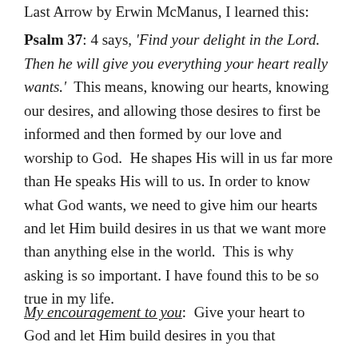Last Arrow by Erwin McManus, I learned this: Psalm 37: 4 says, 'Find your delight in the Lord. Then he will give you everything your heart really wants.'  This means, knowing our hearts, knowing our desires, and allowing those desires to first be informed and then formed by our love and worship to God.  He shapes His will in us far more than He speaks His will to us. In order to know what God wants, we need to give him our hearts and let Him build desires in us that we want more than anything else in the world.  This is why asking is so important. I have found this to be so true in my life.
My encouragement to you:  Give your heart to God and let Him build desires in you that